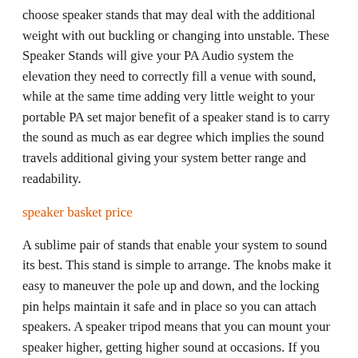choose speaker stands that may deal with the additional weight with out buckling or changing into unstable. These Speaker Stands will give your PA Audio system the elevation they need to correctly fill a venue with sound, while at the same time adding very little weight to your portable PA set major benefit of a speaker stand is to carry the sound as much as ear degree which implies the sound travels additional giving your system better range and readability.
speaker basket price
A sublime pair of stands that enable your system to sound its best. This stand is simple to arrange. The knobs make it easy to maneuver the pole up and down, and the locking pin helps maintain it safe and in place so you can attach speakers. A speaker tripod means that you can mount your speaker higher, getting higher sound at occasions. If you happen to're still in two minds about tripod speaker stand and are enthusiastic about selecting a similar product,